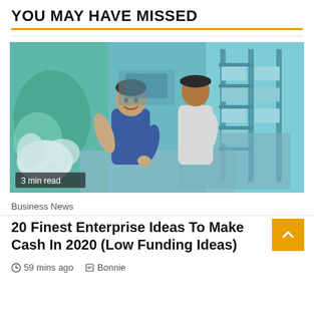YOU MAY HAVE MISSED
[Figure (photo): Two men working in an industrial/workshop setting, one smiling, both leaning over a surface with machinery and equipment around them. CCTV or security camera footage style image with blue-green tint.]
3 min read
Business News
20 Finest Enterprise Ideas To Make Cash In 2020 (Low Funding Ideas)
59 mins ago  Bonnie